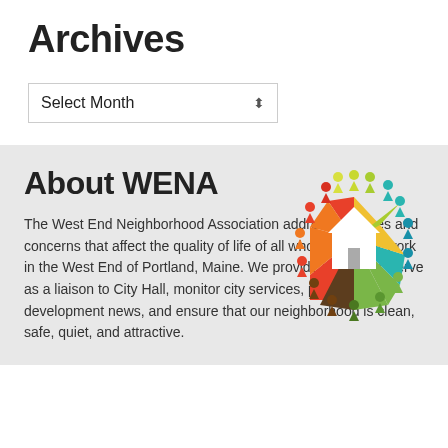Archives
Select Month
About WENA
[Figure (logo): WENA logo: circular arrangement of colorful human figures (red, orange, yellow, green, teal, blue) surrounding a house shape made of colored segments (red, orange, yellow, green, teal), with a white house silhouette in the center.]
The West End Neighborhood Association addresses issues and concerns that affect the quality of life of all who live and/or work in the West End of Portland, Maine. We provide programs, serve as a liaison to City Hall, monitor city services, provide development news, and ensure that our neighborhood is clean, safe, quiet, and attractive.